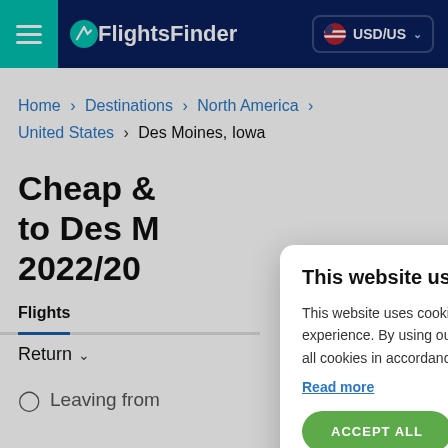FlightsFinder — USD/US
Home > Destinations > North America > United States > Des Moines, Iowa
Cheap &... to Des M... 2022/20...
Flights
Return
Leaving from
This website uses cookies
This website uses cookies to improve user experience. By using our website you consent to all cookies in accordance with our Cookie Policy.
Read more
ACCEPT ALL
DECLINE ALL
SHOW DETAILS